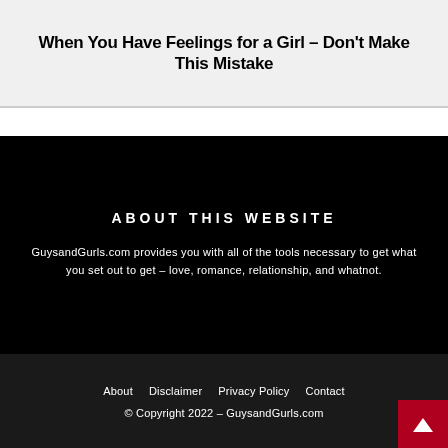When You Have Feelings for a Girl – Don't Make This Mistake
ABOUT THIS WEBSITE
GuysandGurls.com provides you with all of the tools necessary to get what you set out to get – love, romance, relationship, and whatnot.
About   Disclaimer   Privacy Policy   Contact   © Copyright 2022 – GuysandGurls.com